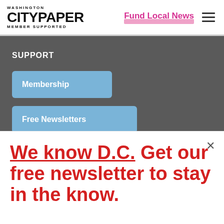WASHINGTON CITYPAPER MEMBER SUPPORTED | Fund Local News
SUPPORT
Membership
Free Newsletters
We know D.C. Get our free newsletter to stay in the know.